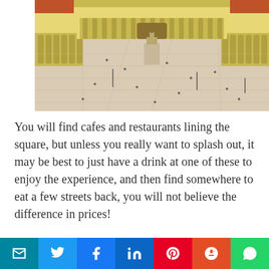[Figure (photo): Aerial view of a large European plaza (Praça do Comércio, Lisbon) with a central statue/monument, yellow neoclassical buildings with arches on three sides, and people walking across the wide stone-paved square. Red-tiled rooftops visible at edges.]
You will find cafes and restaurants lining the square, but unless you really want to splash out, it may be best to just have a drink at one of these to enjoy the experience, and then find somewhere to eat a few streets back, you will not believe the difference in prices!
To the south of the plaza is an open view of the